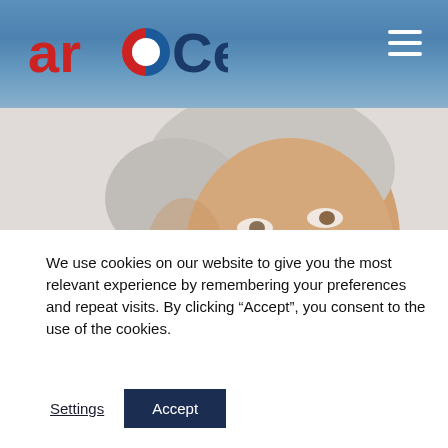arOCell
[Figure (photo): Portrait photo of a smiling older man with grey-white hair, light skin, wearing a white collar, against a white background.]
We use cookies on our website to give you the most relevant experience by remembering your preferences and repeat visits. By clicking “Accept”, you consent to the use of the cookies.
Settings   Accept